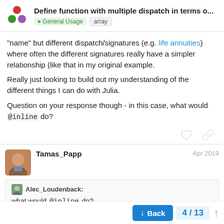Define function with multiple dispatch in terms o... | General Usage | array
"name" but different dispatch/signatures (e.g. life annuities) where often the different signatures really have a simpler relationship (like that in my original example.
Really just looking to build out my understanding of the different things I can do with Julia.
Question on your response though - in this case, what would @inline do?
Tamas_Papp Apr 2019
Alec_Loudenback:
what would @inline do?